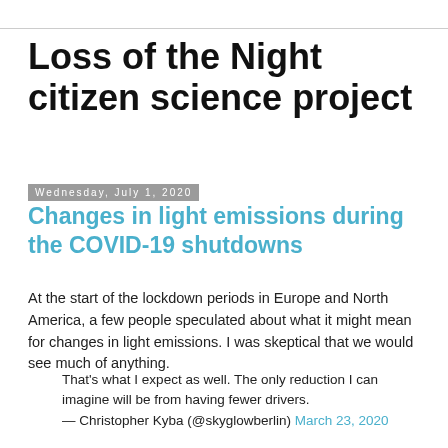Loss of the Night citizen science project
Loss of the Night citizen science project
Wednesday, July 1, 2020
Changes in light emissions during the COVID-19 shutdowns
At the start of the lockdown periods in Europe and North America, a few people speculated about what it might mean for changes in light emissions. I was skeptical that we would see much of anything.
That's what I expect as well. The only reduction I can imagine will be from having fewer drivers.
— Christopher Kyba (@skyglowberlin) March 23, 2020